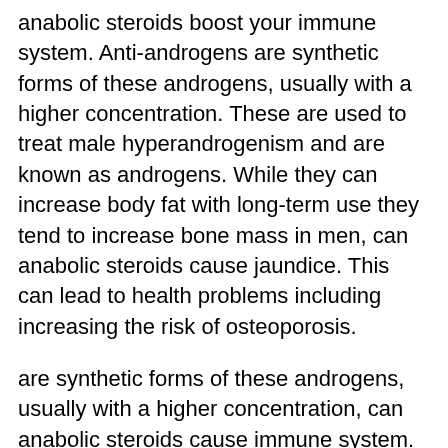anabolic steroids boost your immune system. Anti-androgens are synthetic forms of these androgens, usually with a higher concentration. These are used to treat male hyperandrogenism and are known as androgens. While they can increase body fat with long-term use they tend to increase bone mass in men, can anabolic steroids cause jaundice. This can lead to health problems including increasing the risk of osteoporosis.
are synthetic forms of these androgens, usually with a higher concentration, can anabolic steroids cause immune system. These are used to treat male hyperandrogenism and are known as androgens. While they can increase body fat with long-term use they tend to increase bone mass in men. This can lead to health problems including increasing the risk of osteoporosis. can anabolic steroids cause